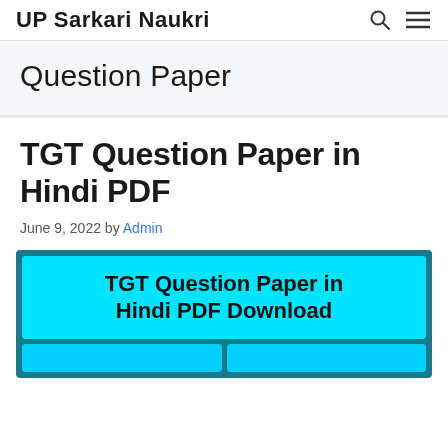UP Sarkari Naukri
Question Paper
TGT Question Paper in Hindi PDF
June 9, 2022 by Admin
[Figure (illustration): Promotional banner image with cyan background reading 'TGT Question Paper in Hindi PDF Download' in bold black text, with teal border frame and partial buttons visible at bottom]